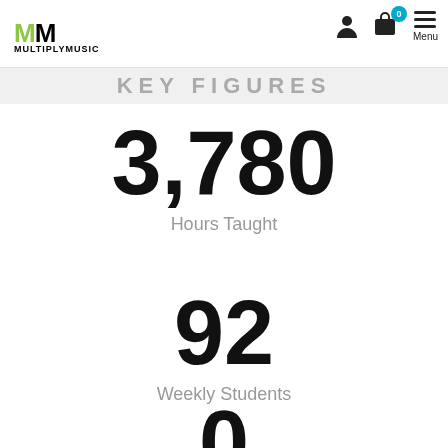[Figure (logo): MultiplyMusic logo with stylized MM letters and company name]
KEY FIGURES
3,780
Hours Taught
92
Weekly Students
0